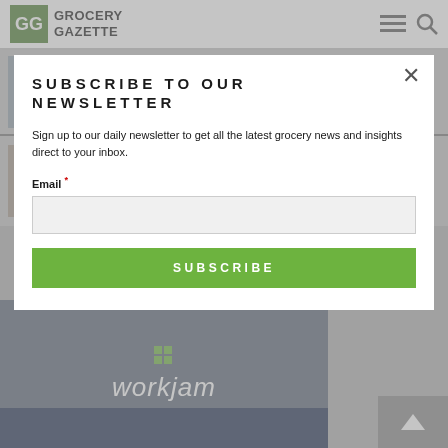Grocery Gazette
Aldi and Lidl predicted to overtake Tesco by 2027
posted on 30/08/2022
responsible for 70% of branded litter
posted on 25/08/2022
SUBSCRIBE TO OUR NEWSLETTER
Sign up to our daily newsletter to get all the latest grocery news and insights direct to your inbox.
Email *
SUBSCRIBE
[Figure (logo): WorkJam logo on dark background]